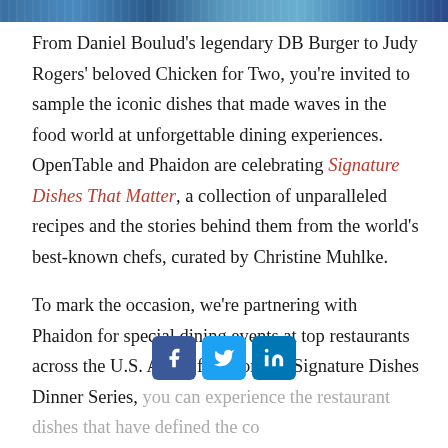[Figure (photo): Cropped top edge of a food/restaurant photo in blue tones]
From Daniel Boulud's legendary DB Burger to Judy Rogers' beloved Chicken for Two, you're invited to sample the iconic dishes that made waves in the food world at unforgettable dining experiences. OpenTable and Phaidon are celebrating Signature Dishes That Matter, a collection of unparalleled recipes and the stories behind them from the world's best-known chefs, curated by Christine Muhlke.
To mark the occasion, we're partnering with Phaidon for special dining events at top restaurants across the U.S. At the forthcoming Signature Dishes Dinner Series, you can experience the restaurant dishes that have defined the co[untry's culinary] history, including Alice Cooper's celebrated [Caesar? Baby?] ...
[Figure (infographic): Social media share buttons: Facebook (blue), Twitter (light blue), LinkedIn (dark blue)]